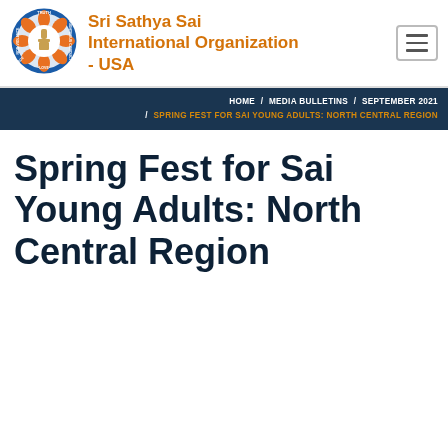Sri Sathya Sai International Organization - USA
HOME / MEDIA BULLETINS / SEPTEMBER 2021 / SPRING FEST FOR SAI YOUNG ADULTS: NORTH CENTRAL REGION
Spring Fest for Sai Young Adults: North Central Region